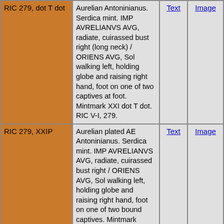| Reference | Description | Text | Image |
| --- | --- | --- | --- |
| RIC 279, dot T dot | Aurelian Antoninianus. Serdica mint. IMP AVRELIANVS AVG, radiate, cuirassed bust right (long neck) / ORIENS AVG, Sol walking left, holding globe and raising right hand, foot on one of two captives at foot. Mintmark XXI dot T dot. RIC V-I, 279. | Text | Image |
| RIC 279, XXIP | Aurelian plated AE Antoninianus. Serdica mint. IMP AVRELIANVS AVG, radiate, cuirassed bust right / ORIENS AVG, Sol walking left, holding globe and raising right hand, foot on one of two bound captives. Mintmark XXIP. Cohen 145. | Text | Image |
| RIC 279, XXIS | Aurelian AE Antoninianus. Serdica mint. IMP AVRELIANVS AVG, radiate, cuirassed bust right / ORIENS AVG Sol standing left between two captives, holding globe, right hand raised. Mintmark XXI dot S. | Text | Image |
| RIC 279, XXIT | Aurelian plated AE Antonininus. Serdica mint. IMP AVRELIANVS AVG, radiate, cuirassed bust right / ORIENS AVG, Sol walking left with orb between 2 captives. Mintmark... | Text | Image |